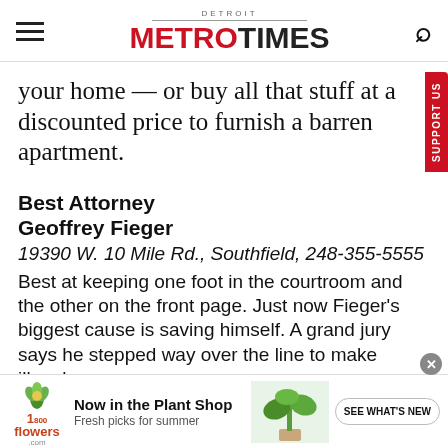DETROIT METROTIMES
your home — or buy all that stuff at a discounted price to furnish a barren apartment.
Best Attorney
Geoffrey Fieger
19390 W. 10 Mile Rd., Southfield, 248-355-5555
Best at keeping one foot in the courtroom and the other on the front page. Just now Fieger's biggest cause is saving himself. A grand jury says he stepped way over the line to make illegal
[Figure (other): 1-800-flowers.com advertisement banner: Now in the Plant Shop, Fresh picks for summer, with plant image and SEE WHAT'S NEW button]